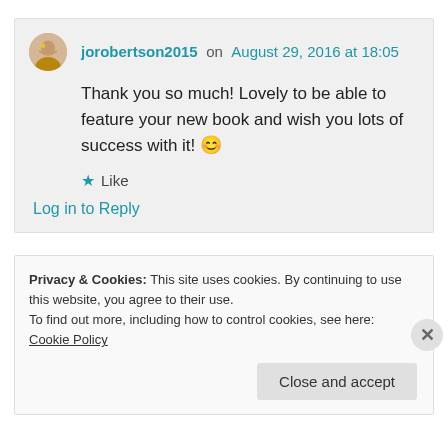jorobertson2015 on August 29, 2016 at 18:05
Thank you so much! Lovely to be able to feature your new book and wish you lots of success with it! 😊
★ Like
Log in to Reply
Privacy & Cookies: This site uses cookies. By continuing to use this website, you agree to their use. To find out more, including how to control cookies, see here: Cookie Policy
Close and accept